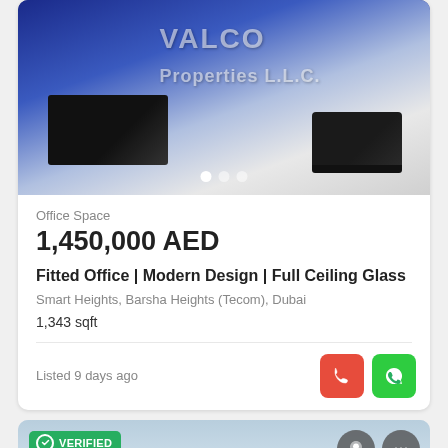[Figure (photo): Interior photo of an office space with dark furniture, a reception desk, a black sofa, and blue ambient lighting. Watermark reads VALCO Properties L.L.C.]
Office Space
1,450,000 AED
Fitted Office | Modern Design | Full Ceiling Glass
Smart Heights, Barsha Heights (Tecom), Dubai
1,343 sqft
Listed 9 days ago
[Figure (screenshot): Map preview card with VERIFIED badge in green, Map button with location pin icon, heart icon and three-dot menu icon.]